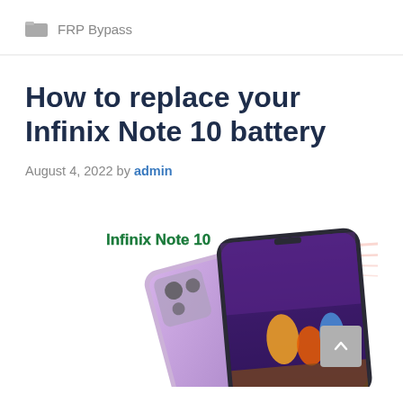FRP Bypass
How to replace your Infinix Note 10 battery
August 4, 2022 by admin
[Figure (photo): Infinix Note 10 smartphone promotional image showing two phones, with 'Infinix Note 10' text label in green bold on the image. The phones display a gaming scene on screen.]